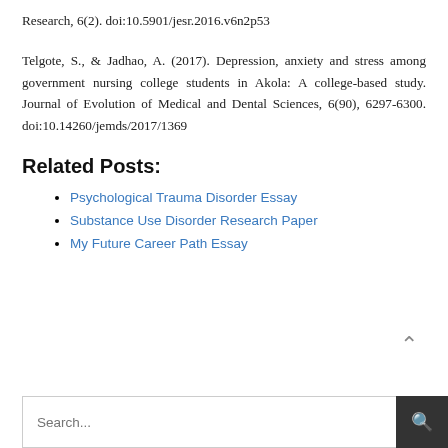Research, 6(2). doi:10.5901/jesr.2016.v6n2p53
Telgote, S., & Jadhao, A. (2017). Depression, anxiety and stress among government nursing college students in Akola: A college-based study. Journal of Evolution of Medical and Dental Sciences, 6(90), 6297-6300. doi:10.14260/jemds/2017/1369
Related Posts:
Psychological Trauma Disorder Essay
Substance Use Disorder Research Paper
My Future Career Path Essay